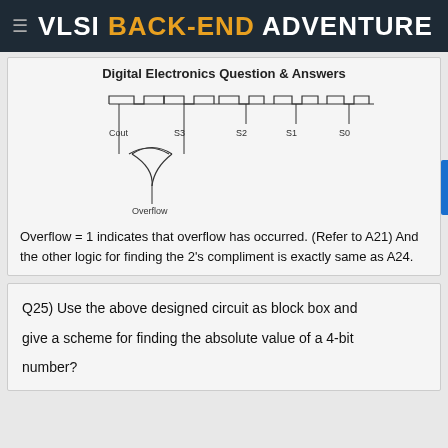VLSI BACK-END ADVENTURE
Digital Electronics Question & Answers
[Figure (engineering-diagram): Timing/logic diagram showing signals Cout, S3, S2, S1, S0 with clock-like waveforms, and an XOR gate below Cout and S3 producing an Overflow output signal.]
Overflow = 1 indicates that overflow has occurred. (Refer to A21) And the other logic for finding the 2's compliment is exactly same as A24.
Q25) Use the above designed circuit as block box and give a scheme for finding the absolute value of a 4-bit number?